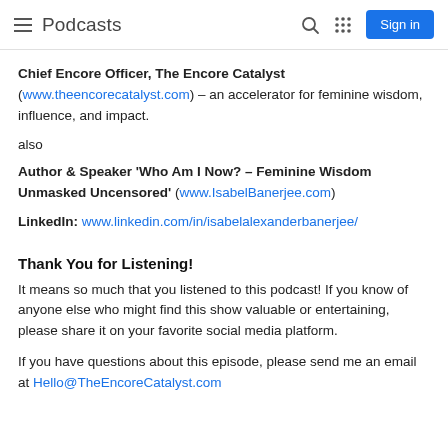Podcasts  Sign in
Chief Encore Officer, The Encore Catalyst (www.theencorecatalyst.com) – an accelerator for feminine wisdom, influence, and impact.
also
Author & Speaker 'Who Am I Now? – Feminine Wisdom Unmasked Uncensored' (www.IsabelBanerjee.com)
LinkedIn: www.linkedin.com/in/isabelalexanderbanerjee/
Thank You for Listening!
It means so much that you listened to this podcast! If you know of anyone else who might find this show valuable or entertaining, please share it on your favorite social media platform.
If you have questions about this episode, please send me an email at Hello@TheEncorecatalyst.com